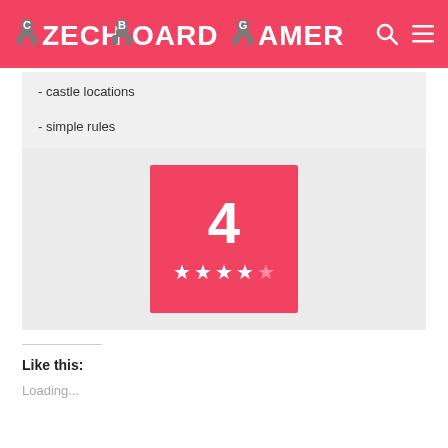CZECH BOARD GAMER
- castle locations
- simple rules
[Figure (infographic): Rating box showing the number 4 with 4 out of 5 stars on a red/coral background]
Like this:
Loading...